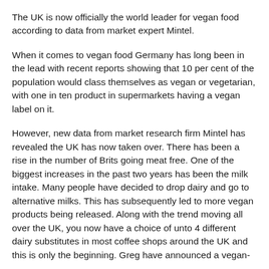The UK is now officially the world leader for vegan food according to data from market expert Mintel.
When it comes to vegan food Germany has long been in the lead with recent reports showing that 10 per cent of the population would class themselves as vegan or vegetarian, with one in ten product in supermarkets having a vegan label on it.
However, new data from market research firm Mintel has revealed the UK has now taken over. There has been a rise in the number of Brits going meat free. One of the biggest increases in the past two years has been the milk intake. Many people have decided to drop dairy and go to alternative milks. This has subsequently led to more vegan products being released. Along with the trend moving all over the UK, you now have a choice of unto 4 different dairy substitutes in most coffee shops around the UK and this is only the beginning. Greg have announced a vegan-